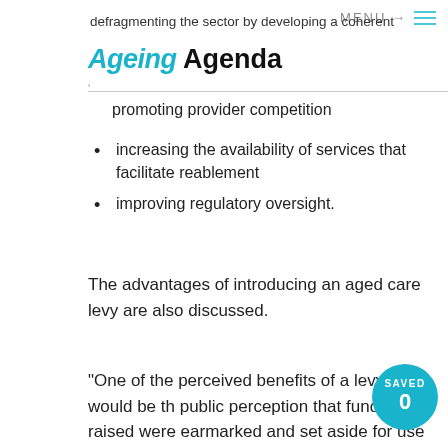MENU →
[Figure (logo): Ageing Agenda logo — 'Ageing' in cyan italic bold, 'Agenda' in black bold]
promoting provider competition
increasing the availability of services that facilitate reablement
improving regulatory oversight.
The advantages of introducing an aged care levy are also discussed.
"One of the perceived benefits of a levy would be the public perception that funds to be raised were earmarked and set aside for use for aged care," write the authors. "Politically, it may be easier to gain public acceptance for increased taxation if it is explicitly